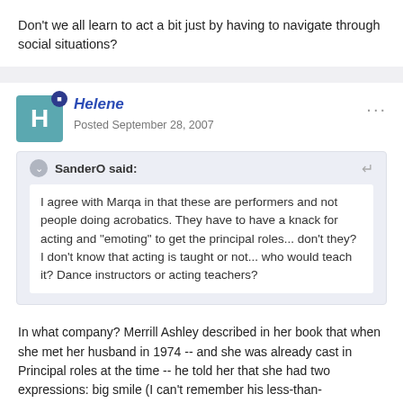Don't we all learn to act a bit just by having to navigate through social situations?
Helene
Posted September 28, 2007
SanderO said:
I agree with Marqa in that these are performers and not people doing acrobatics. They have to have a knack for acting and "emoting" to get the principal roles... don't they? I don't know that acting is taught or not... who would teach it? Dance instructors or acting teachers?
In what company? Merrill Ashley described in her book that when she met her husband in 1974 -- and she was already cast in Principal roles at the time -- he told her that she had two expressions: big smile (I can't remember his less-than-complimentary description)